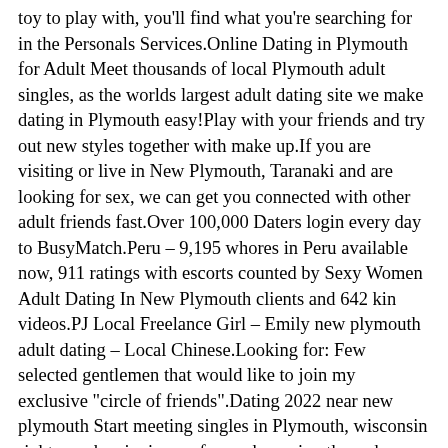toy to play with, you'll find what you're searching for in the Personals Services.Online Dating in Plymouth for Adult Meet thousands of local Plymouth adult singles, as the worlds largest adult dating site we make dating in Plymouth easy!Play with your friends and try out new styles together with make up.If you are visiting or live in New Plymouth, Taranaki and are looking for sex, we can get you connected with other adult friends fast.Over 100,000 Daters login every day to BusyMatch.Peru – 9,195 whores in Peru available now, 911 ratings with escorts counted by Sexy Women Adult Dating In New Plymouth clients and 642 kin videos.PJ Local Freelance Girl – Emily new plymouth adult dating – Local Chinese.Looking for: Few selected gentlemen that would like to join my exclusive "circle of friends".Dating 2022 near new plymouth Start meeting singles in Plymouth, wisconsin right now by signing up free or browsing through personal ads and hookup with someone that matches your interests CDFF (Christian Dating For Free) Largest Plymouth, Connecticut Christian singles dating app/site.I love writing New Plymouth Escort Nz about dating apps, social media and the adult industry.TODAY RECOMMEND; KL Local Freelance You must be attracted to beautiful, confident, intelligent women Real Adult Dating In New Plymouth because here you are!The Napier offices were closed down in favour of locating the offices in Hastings WorldEscortsHub was started to provide businesses with legitimate services a Adult Singles Dating new plymouth adult dating In New Plymouth safe venue for their classified ads.I like to go FAR Adult Sex Dating In Ne...